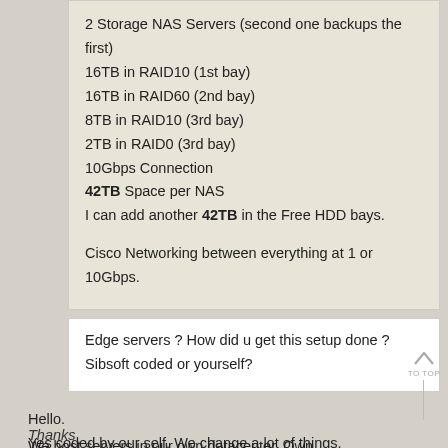2 Storage NAS Servers (second one backups the first)
16TB in RAID10 (1st bay)
16TB in RAID60 (2nd bay)
8TB in RAID10 (3rd bay)
2TB in RAID0 (3rd bay)
10Gbps Connection
42TB Space per NAS
I can add another 42TB in the Free HDD bays.
Cisco Networking between everything at 1 or 10Gbps.
Edge servers ? How did u get this setup done ? Sibsoft coded or yourself?
Hello.
Yes coded by our self. We change a lot of things.

We host servers in our own datacenter. Own Hardware. Own everything. What kind of prices do you need? If you want to ask me something go ahead via PM.

Thanks